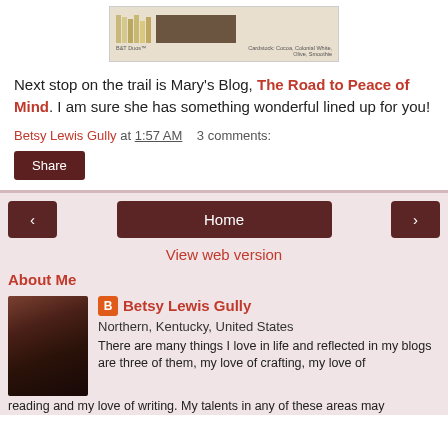[Figure (photo): Color swatch strip showing B&T Duos paper pattern and cardstock swatches labeled Cocoa, Colonial White, Olive, Smoothie]
Next stop on the trail is Mary's Blog, The Road to Peace of Mind. I am sure she has something wonderful lined up for you!
Betsy Lewis Gully at 1:57 AM   3 comments:
Share
‹  Home  › View web version
About Me
[Figure (photo): Profile photo of Betsy Lewis Gully, woman with glasses and dark hair]
Betsy Lewis Gully
Northern, Kentucky, United States
There are many things I love in life and reflected in my blogs are three of them, my love of crafting, my love of reading and my love of writing. My talents in any of these areas may